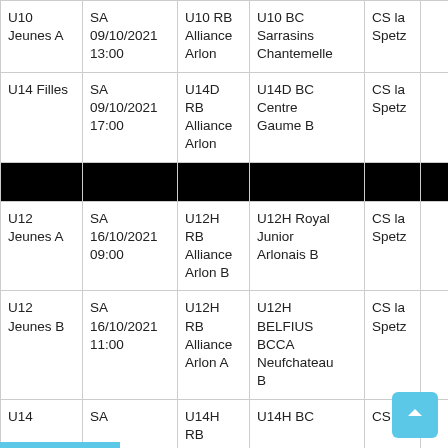| Category | Date/Time | Home | Away | Venue |  |
| --- | --- | --- | --- | --- | --- |
| U10 Jeunes A | SA 09/10/2021 13:00 | U10 RB Alliance Arlon | U10 BC Sarrasins Chantemelle | CS la Spetz |  |
| U14 Filles | SA 09/10/2021 17:00 | U14D RB Alliance Arlon | U14D BC Centre Gaume B | CS la Spetz |  |
| [black divider row] |  |  |  |  |  |
| U12 Jeunes A | SA 16/10/2021 09:00 | U12H RB Alliance Arlon B | U12H Royal Junior Arlonais B | CS la Spetz |  |
| U12 Jeunes B | SA 16/10/2021 11:00 | U12H RB Alliance Arlon A | U12H BELFIUS BCCA Neufchateau B | CS la Spetz |  |
| U14 (partial) | SA (partial) | U14H RB (partial) | U14H BC (partial) | CS la (partial) |  |